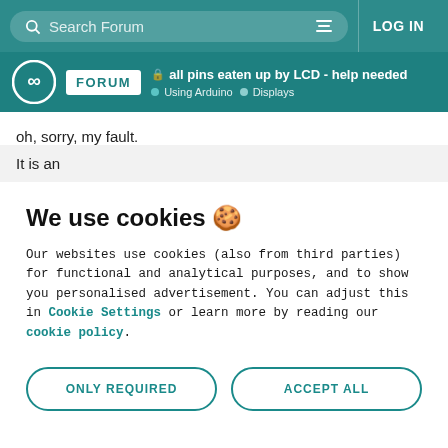Search Forum | LOG IN
all pins eaten up by LCD - help needed | Using Arduino | Displays
oh, sorry, my fault.
It is an
We use cookies 🍪
Our websites use cookies (also from third parties) for functional and analytical purposes, and to show you personalised advertisement. You can adjust this in Cookie Settings or learn more by reading our cookie policy.
ONLY REQUIRED | ACCEPT ALL